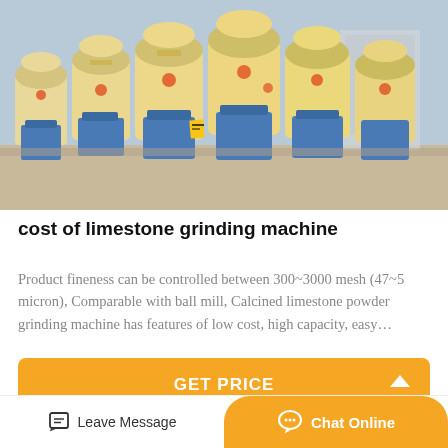[Figure (photo): Row of large yellow/cream industrial grinding mills on blue metal frames, arranged in a factory yard with concrete ground. Multiple cylindrical machines visible, some with orange safety markings.]
cost of limestone grinding machine
Product fineness can be controlled between 300~3000 mesh (47~5 micron), Comparable with ball mill, Calcined limestone powder grinding machine has features of low cost, high capacity, easy…
GET PRICE
Leave Message
Chat Online